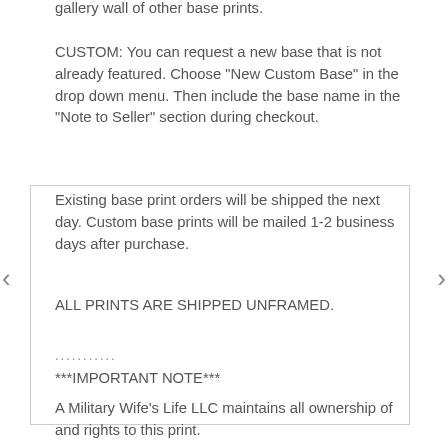These look great both as a stand-alone print or on a gallery wall of other base prints.
CUSTOM: You can request a new base that is not already featured. Choose “New Custom Base” in the drop down menu. Then include the base name in the “Note to Seller” section during checkout.
Existing base print orders will be shipped the next day. Custom base prints will be mailed 1-2 business days after purchase.
ALL PRINTS ARE SHIPPED UNFRAMED.
...........
***IMPORTANT NOTE***
A Military Wife’s Life LLC maintains all ownership of and rights to this print.
For questions regarding commercial use of this product, please reach out to Sarah at contact@amilitarywifeslife.com for licensing information.